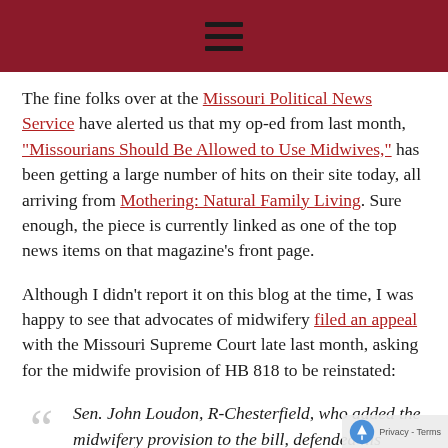≡
The fine folks over at the Missouri Political News Service have alerted us that my op-ed from last month, "Missourians Should Be Allowed to Use Midwives," has been getting a large number of hits on their site today, all arriving from Mothering: Natural Family Living. Sure enough, the piece is currently linked as one of the top news items on that magazine's front page.
Although I didn't report it on this blog at the time, I was happy to see that advocates of midwifery filed an appeal with the Missouri Supreme Court late last month, asking for the midwife provision of HB 818 to be reinstated:
Sen. John Loudon, R-Chesterfield, who added the midwifery provision to the bill, defended his inclusion of the provision.